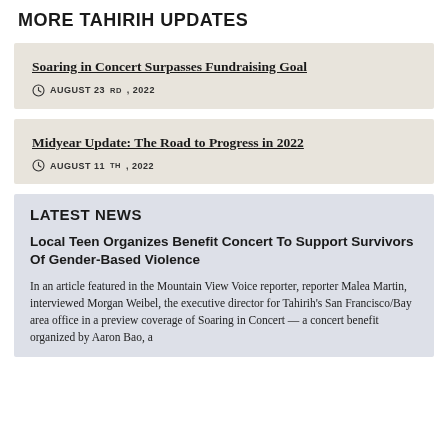MORE TAHIRIH UPDATES
Soaring in Concert Surpasses Fundraising Goal
AUGUST 23RD, 2022
Midyear Update: The Road to Progress in 2022
AUGUST 11TH, 2022
LATEST NEWS
Local Teen Organizes Benefit Concert To Support Survivors Of Gender-Based Violence
In an article featured in the Mountain View Voice reporter, reporter Malea Martin, interviewed Morgan Weibel, the executive director for Tahirih's San Francisco/Bay area office in a preview coverage of Soaring in Concert — a concert benefit organized by Aaron Bao, a